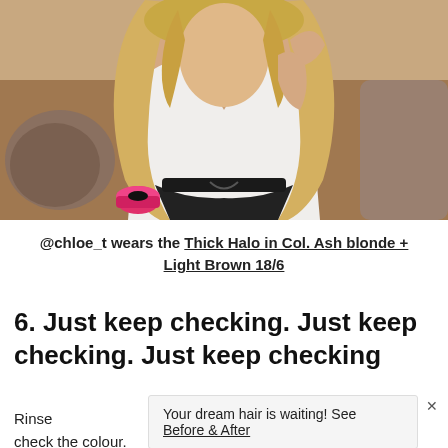[Figure (photo): A blonde woman with long wavy hair wearing a white wrap crop top and black pants, sitting on a couch/floor. A pink hair product container is visible on the floor beside her.]
@chloe_t wears the Thick Halo in Col. Ash blonde + Light Brown 18/6
6. Just keep checking. Just keep checking. Just keep checking
Rinse and check the colour.
Your dream hair is waiting! See Before & After